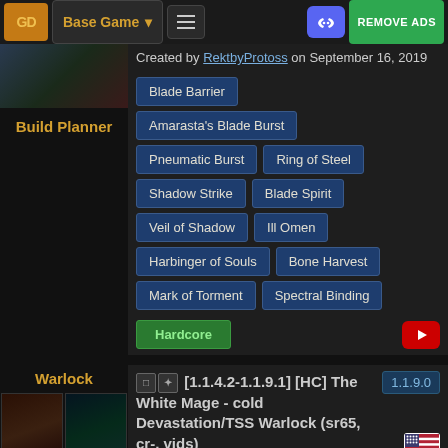GD | Base Game | Menu | Discord | REMOVE ADS
Created by RektbyProtoss on September 16, 2019
Blade Barrier
Amarasta's Blade Burst
Pneumatic Burst
Ring of Steel
Shadow Strike
Blade Spirit
Veil of Shadow
Ill Omen
Harbinger of Souls
Bone Harvest
Mark of Torment
Spectral Binding
Hardcore
Build Planner
Warlock
1.1.9.0
[1.1.4.2-1.1.9.1] [HC] The White Mage - cold Devastation/TSS Warlock (sr65, cr-, vids)